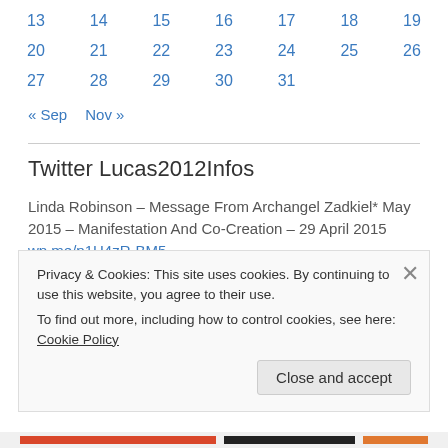| 13 | 14 | 15 | 16 | 17 | 18 | 19 |
| 20 | 21 | 22 | 23 | 24 | 25 | 26 |
| 27 | 28 | 29 | 30 | 31 |  |  |
« Sep   Nov »
Twitter Lucas2012Infos
Linda Robinson – Message From Archangel Zadkiel* May 2015 – Manifestation And Co-Creation – 29 April 2015 wp.me/p1H4zR-BM5
7 years ago
Tom Lescher – Astrology For The Soul – 29 April 2015 wp.me/p1H4zR-
Privacy & Cookies: This site uses cookies. By continuing to use this website, you agree to their use.
To find out more, including how to control cookies, see here: Cookie Policy
Close and accept